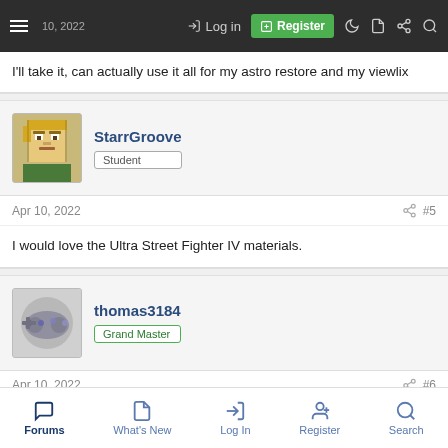Apr 10, 2022  Log in  Register
I'll take it, can actually use it all for my astro restore and my viewlix
StarrGroove  Student
Apr 10, 2022  #5
I would love the Ultra Street Fighter IV materials.
thomas3184  Grand Master
Apr 10, 2022  #6
Forums  What's New  Log In  Register  Search